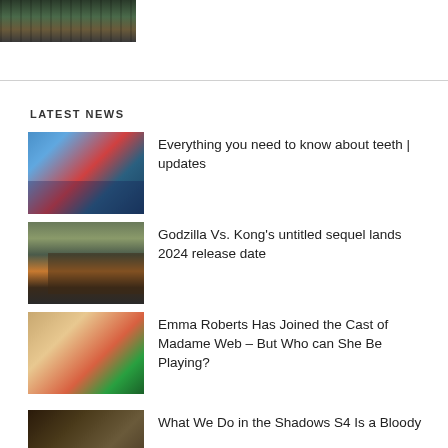[Figure (photo): Top partial image of a statue or figure against a dark background, cropped at top of page]
LATEST NEWS
[Figure (photo): Dental patient having teeth examined by a dentist in blue gloves, colorful background]
Everything you need to know about teeth | updates
[Figure (photo): Godzilla vs Kong movie scene with monsters and explosions]
Godzilla Vs. Kong's untitled sequel lands 2024 release date
[Figure (photo): Emma Roberts alongside a costumed character, possibly for Madame Web]
Emma Roberts Has Joined the Cast of Madame Web – But Who can She Be Playing?
[Figure (photo): What We Do in the Shadows S4 partial thumbnail]
What We Do in the Shadows S4 Is a Bloody